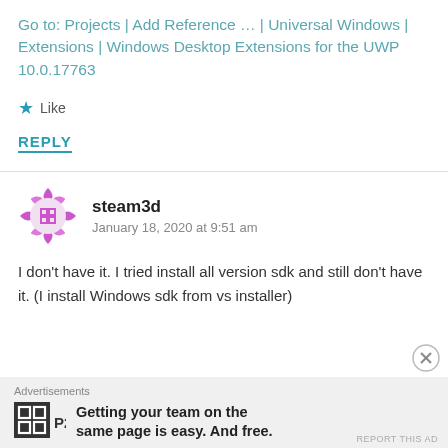Go to: Projects | Add Reference ... | Universal Windows | Extensions | Windows Desktop Extensions for the UWP 10.0.17763
★ Like
REPLY
steam3d
January 18, 2020 at 9:51 am
I don't have it. I tried install all version sdk and still don't have it. (I install Windows sdk from vs installer)
Advertisements
Getting your team on the same page is easy. And free.